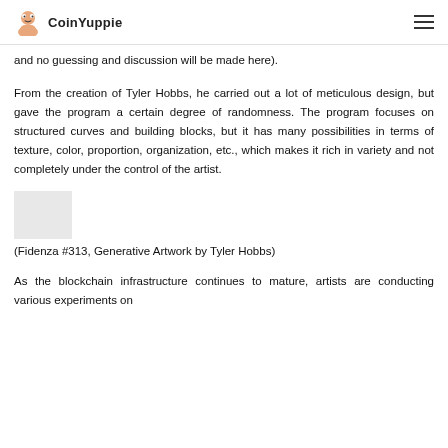CoinYuppie
and no guessing and discussion will be made here).
From the creation of Tyler Hobbs, he carried out a lot of meticulous design, but gave the program a certain degree of randomness. The program focuses on structured curves and building blocks, but it has many possibilities in terms of texture, color, proportion, organization, etc., which makes it rich in variety and not completely under the control of the artist.
[Figure (photo): Small gray placeholder image representing Fidenza #313 generative artwork thumbnail]
(Fidenza #313, Generative Artwork by Tyler Hobbs)
As the blockchain infrastructure continues to mature, artists are conducting various experiments on